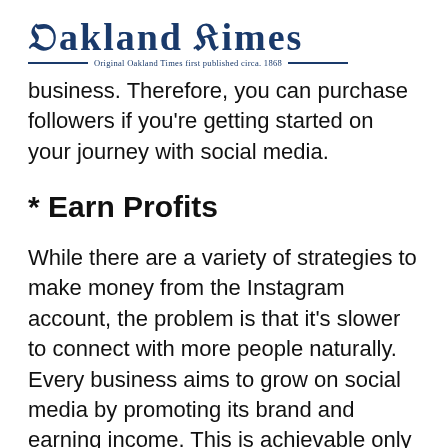Oakland Times — Original Oakland Times first published circa. 1868
business. Therefore, you can purchase followers if you're getting started on your journey with social media.
* Earn Profits
While there are a variety of strategies to make money from the Instagram account, the problem is that it's slower to connect with more people naturally. Every business aims to grow on social media by promoting its brand and earning income. This is achievable only if an organization or an influencer has people following them, and they turn them into customers. To boost sales, the goal is to